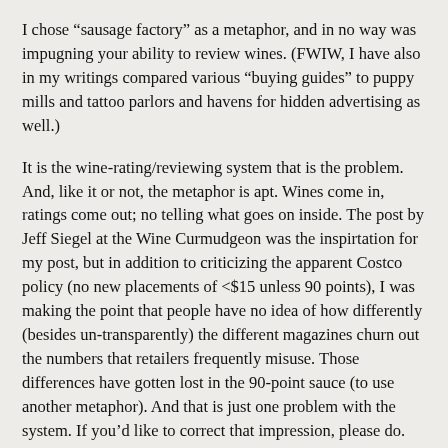I chose “sausage factory” as a metaphor, and in no way was impugning your ability to review wines. (FWIW, I have also in my writings compared various “buying guides” to puppy mills and tattoo parlors and havens for hidden advertising as well.)
It is the wine-rating/reviewing system that is the problem. And, like it or not, the metaphor is apt. Wines come in, ratings come out; no telling what goes on inside. The post by Jeff Siegel at the Wine Curmudgeon was the inspirtation for my post, but in addition to criticizing the apparent Costco policy (no new placements of <$15 unless 90 points), I was making the point that people have no idea of how differently (besides un-transparently) the different magazines churn out the numbers that retailers frequently misuse. Those differences have gotten lost in the 90-point sauce (to use another metaphor). And that is just one problem with the system. If you’d like to correct that impression, please do. But I still believe that the metaphor worked perfectly well in the context of my blog post. Again, the sausages were the ratings, not the rater, Steve. It was not a